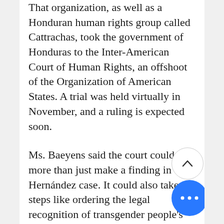That organization, as well as a Honduran human rights group called Cattrachas, took the government of Honduras to the Inter-American Court of Human Rights, an offshoot of the Organization of American States. A trial was held virtually in November, and a ruling is expected soon.
Ms. Baeyens said the court could do more than just make a finding in the Hernández case. It could also take steps like ordering the legal recognition of transgender people's new names and requiring that changes to official I.D. cards be allowed — something governments in the region often refuse to do now. The court could also order the elimination of laws that allow the